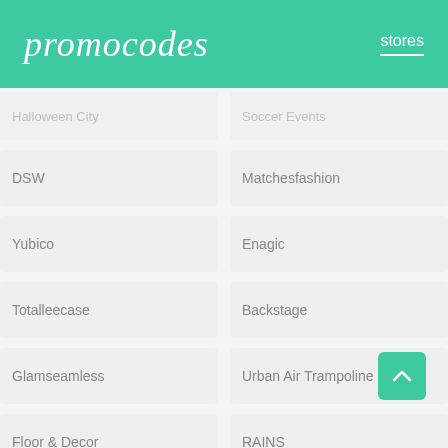promocodes | stores
Halloween City | Soccer Events
DSW | Matchesfashion
Yubico | Enagic
Totalleecase | Backstage
Glamseamless | Urban Air Trampoline Park
Floor & Decor | RAINS
Wedding Sparklers Usa | Free People
TRACT OPTICS | Keychron